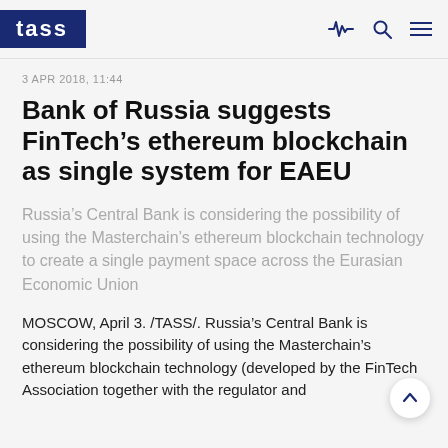TASS
3 APR 2018, 11:44
Bank of Russia suggests FinTech’s ethereum blockchain as single system for EAEU
Russia’s Central Bank is considering the possibility of using the Masterchain’s ethereum blockchain technology to create a single payment space across the Eurasian Economic Union
MOSCOW, April 3. /TASS/. Russia’s Central Bank is considering the possibility of using the Masterchain’s ethereum blockchain technology (developed by the FinTech Association together with the regulator and